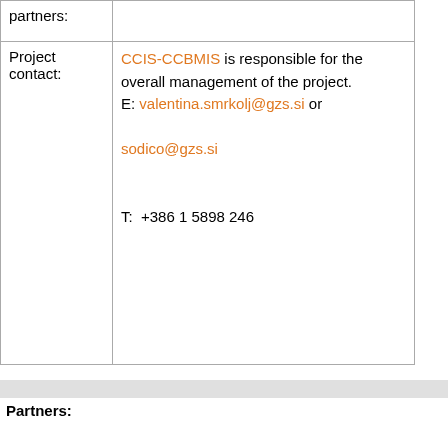| partners: |  |
| Project contact: | CCIS-CCBMIS is responsible for the overall management of the project.
E: valentina.smrkolj@gzs.si or
sodico@gzs.si
T:  +386 1 5898 246 |
Partners: